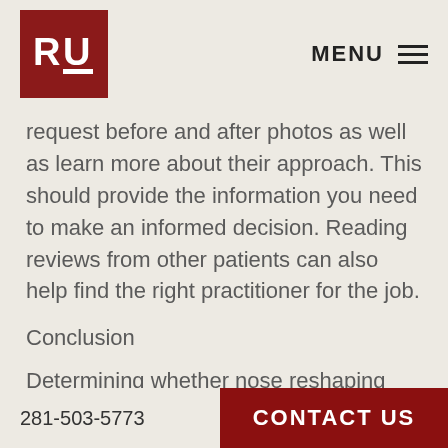RY MENU
request before and after photos as well as learn more about their approach. This should provide the information you need to make an informed decision. Reading reviews from other patients can also help find the right practitioner for the job.
Conclusion
Determining whether nose reshaping surgery is appropriate for a younger person is a weighty decision that should not be taken lightly. The
281-503-5773   CONTACT US